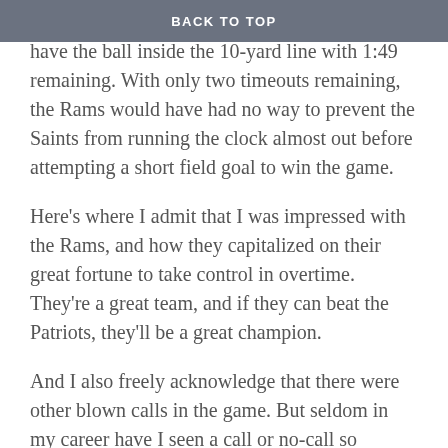BACK TO TOP
And had they been called, the Saints would have the ball inside the 10-yard line with 1:49 remaining. With only two timeouts remaining, the Rams would have had no way to prevent the Saints from running the clock almost out before attempting a short field goal to win the game.
Here's where I admit that I was impressed with the Rams, and how they capitalized on their great fortune to take control in overtime. They're a great team, and if they can beat the Patriots, they'll be a great champion.
And I also freely acknowledge that there were other blown calls in the game. But seldom in my career have I seen a call or no-call so directly affect the outcome of a game.
My heart bleeds for the Saints and their awesome fans, the fans that simply wouldn't let their team lose in the NFL semi-final against Philadelphia and who made life so miserable on the Rams. But to be charitable, I also feel